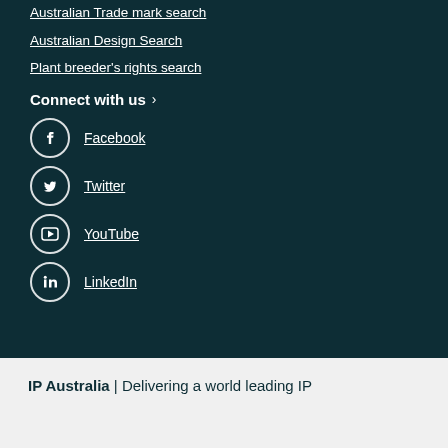Australian Trade mark search
Australian Design Search
Plant breeder's rights search
Connect with us ›
Facebook
Twitter
YouTube
LinkedIn
IP Australia | Delivering a world leading IP